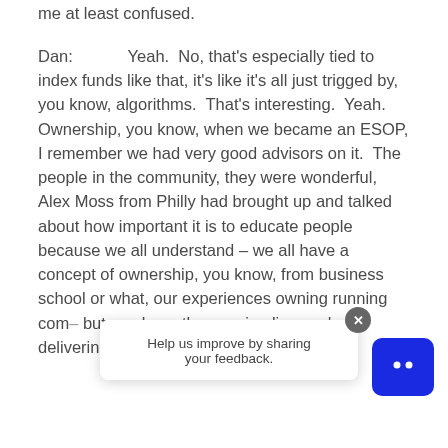me at least confused.
Dan:   Yeah.  No, that's especially tied to index funds like that, it's like it's all just trigged by, you know, algorithms.  That's interesting.  Yeah.  Ownership, you know, when we became an ESOP, I remember we had very good advisors on it.  The people in the community, they were wonderful, Alex Moss from Philly had brought up and talked about how important it is to educate people because we all understand – we all have a concept of ownership, you know, from business school or what, our experiences owning running com[panies] but you kno[w] the canning line, we're delivering beer